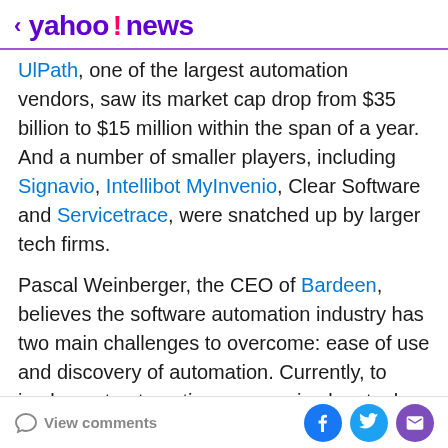< yahoo!news
UlPath, one of the largest automation vendors, saw its market cap drop from $35 billion to $15 million within the span of a year. And a number of smaller players, including Signavio, Intellibot MyInvenio, Clear Software and Servicetrace, were snatched up by larger tech firms.
Pascal Weinberger, the CEO of Bardeen, believes the software automation industry has two main challenges to overcome: ease of use and discovery of automation. Currently, to implement automation, companies buy tools and then typically hire large consulting firms to actually implement automation with the tools, Weinberger asserts. Post-implementation, companies find that these tools are tough to use, particularly when
View comments